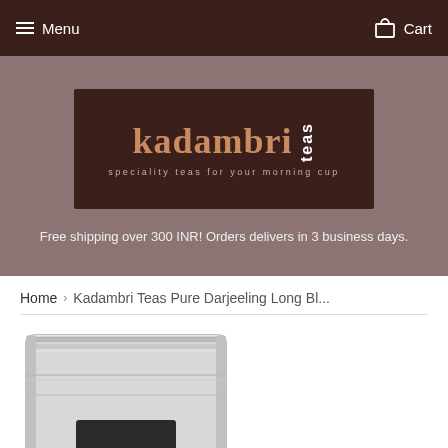Menu  Cart
[Figure (logo): Kadambri Teas logo — dark brown rectangle with 'kadambri' in tan serif text and 'teas' in white vertical text, tagline 'speciality teas for your morning cup']
Free shipping over 300 INR! Orders delivers in 3 business days.
Home › Kadambri Teas Pure Darjeeling Long Bl...
[Figure (photo): Silver metallic zip-lock tea pouch bag, partially visible at bottom of page, with a small dark label window]